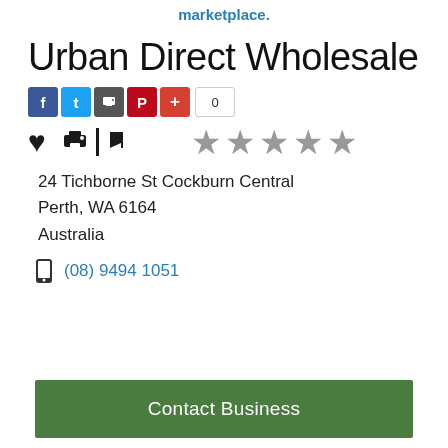marketplace.
Urban Direct Wholesale
[Figure (infographic): Social share buttons row: Facebook, Twitter, print/share, Pinterest, Google Plus, and share count showing 0]
[Figure (infographic): Action icons row: heart (favorite), printer, flag. Star rating: 5 empty grey stars on the right side.]
24 Tichborne St Cockburn Central
Perth, WA 6164
Australia
(08) 9494 1051
Contact Business